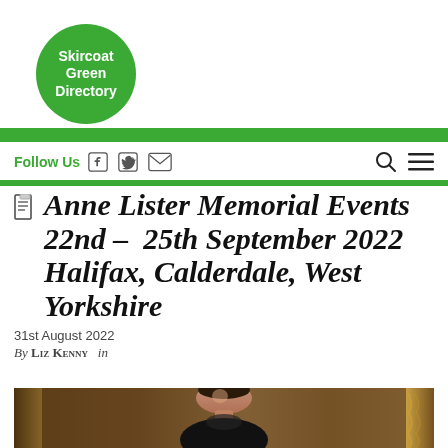[Figure (logo): Skircoat Green Directory logo — green circle with white bold text]
Follow Us [Facebook icon] [Twitter icon] [Email icon] [Search icon] [Menu icon]
Anne Lister Memorial Events 22nd – 25th September 2022 Halifax, Calderdale, West Yorkshire
31st August 2022
By Liz Kenny in
[Figure (photo): Portrait painting of Anne Lister, a woman with dark hair, wearing a dark dress, in an ornate golden frame]